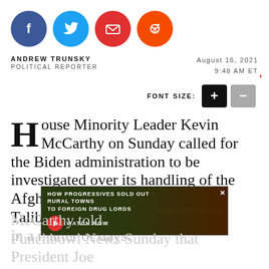[Figure (infographic): Social sharing icons row: Facebook (blue circle), Twitter (light blue circle), Email (red circle), Reddit (orange circle)]
ANDREW TRUNSKY
POLITICAL REPORTER
August 16, 2021
9:48 AM ET
FONT SIZE:
House Minority Leader Kevin McCarthy on Sunday called for the Biden administration to be investigated over its handling of the Afghanistan withdrawal after the Taliban retook the country in a matter of days.
McCarthy told Punchbowl News Sunday that President Joe